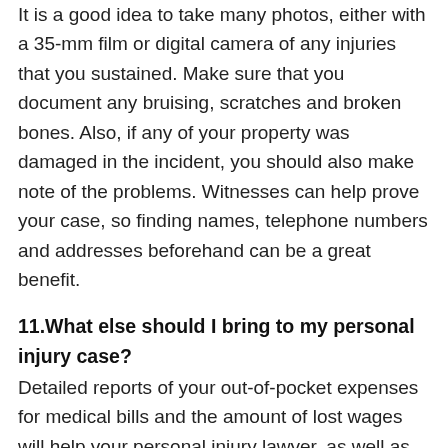It is a good idea to take many photos, either with a 35-mm film or digital camera of any injuries that you sustained. Make sure that you document any bruising, scratches and broken bones. Also, if any of your property was damaged in the incident, you should also make note of the problems. Witnesses can help prove your case, so finding names, telephone numbers and addresses beforehand can be a great benefit.
11.What else should I bring to my personal injury case?
Detailed reports of your out-of-pocket expenses for medical bills and the amount of lost wages will help your personal injury lawyer, as well as the judge or jury determine an appropriate award if you win your